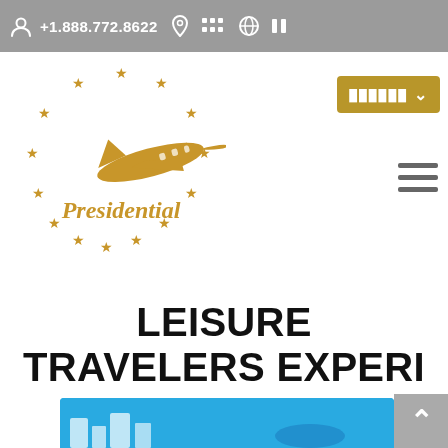+1.888.772.8622
[Figure (logo): Presidential travel logo with golden stars in a circle and an airplane, text reads 'Presidential']
[Figure (other): Dropdown button with menu label and chevron, and hamburger menu icon]
LEISURE TRAVELERS EXPERIENCE:
[Figure (photo): Partial view of a travel destination photo with blue sky and Mediterranean-style buildings]